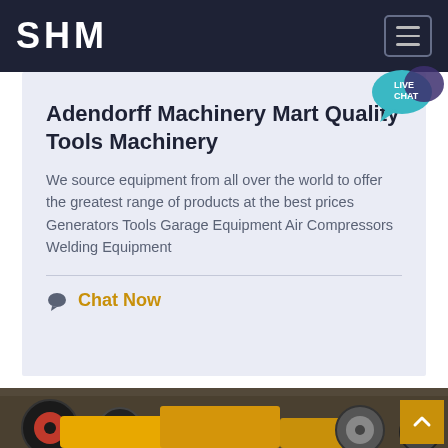SHM
Adendorff Machinery Mart Quality Tools Machinery
We source equipment from all over the world to offer the greatest range of products at the best prices Generators Tools Garage Equipment Air Compressors Welding Equipment
Chat Now
[Figure (photo): Photo of industrial machinery including yellow cable drums/reels in a warehouse or factory setting]